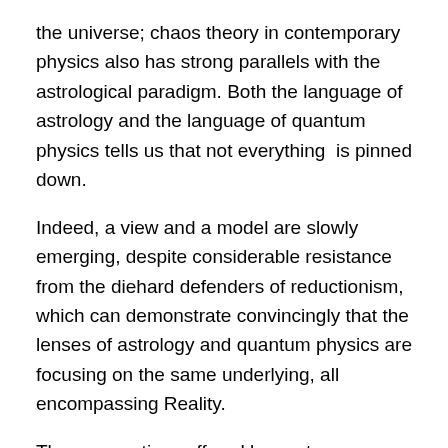the universe; chaos theory in contemporary physics also has strong parallels with the astrological paradigm. Both the language of astrology and the language of quantum physics tells us that not everything  is pinned down.
Indeed, a view and a model are slowly emerging, despite considerable resistance from the diehard defenders of reductionism, which can demonstrate convincingly that the lenses of astrology and quantum physics are focusing on the same underlying, all encompassing Reality.
The perspectives offered by contemporary writers, astrologers, depth psychologists, and scientists, such as Richard Tarnas, Liz Greene, the late Charles Harvey, Stanislav Grof, Brian Swimme, Rupert Sheldrake, and others — including recent books by astrologers Armand Diaz, Kieron Le Grice and Bernadette Brady — have been